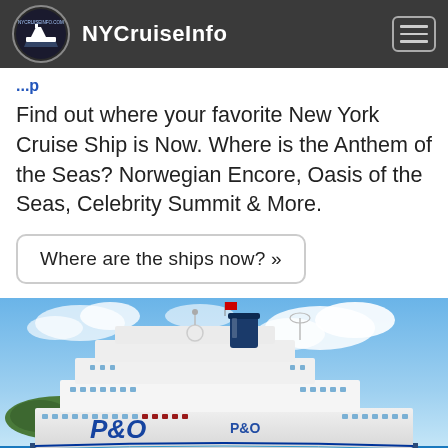NYCruiseInfo
Find out where your favorite New York Cruise Ship is Now. Where is the Anthem of the Seas? Norwegian Encore, Oasis of the Seas, Celebrity Summit & More.
Where are the ships now? »
[Figure (photo): P&O cruise ship sailing on blue ocean water with blue sky and clouds in background]